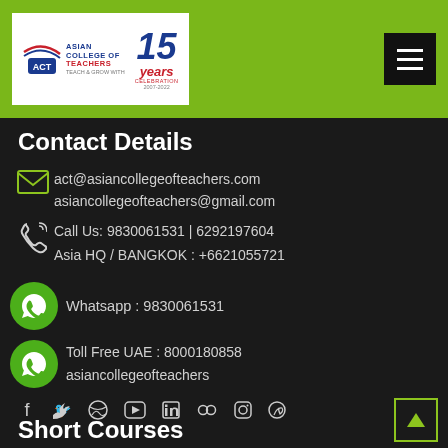[Figure (logo): Asian College of Teachers logo with 15 Years Celebration branding on green header bar]
Contact Details
act@asiancollegeofteachers.com
asiancollegeofteachers@gmail.com
Call Us: 9830061531 | 6292197604
Asia HQ / BANGKOK : +6621055721
Whatsapp : 9830061531
Toll Free UAE : 8000180858
asiancollegeofteachers
[Figure (infographic): Social media icons row: Facebook, Twitter, Dribbble, YouTube, LinkedIn, Flickr, Instagram, Pinterest]
Short Courses